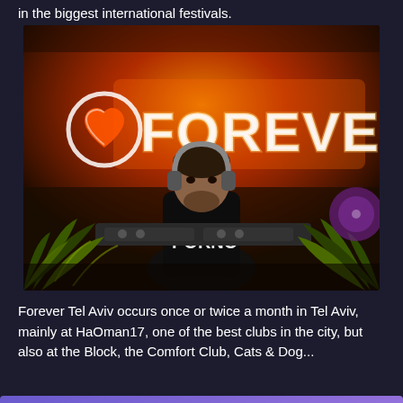in the biggest international festivals.
[Figure (photo): A DJ performing under neon lights with a large glowing 'FOREVER' sign and a heart logo in the background. The DJ is wearing headphones and a black tank top. Plants are visible in the foreground.]
Forever Tel Aviv occurs once or twice a month in Tel Aviv, mainly at HaOman17, one of the best clubs in the city, but also at the Block, the Comfort Club, Cats & Dog...